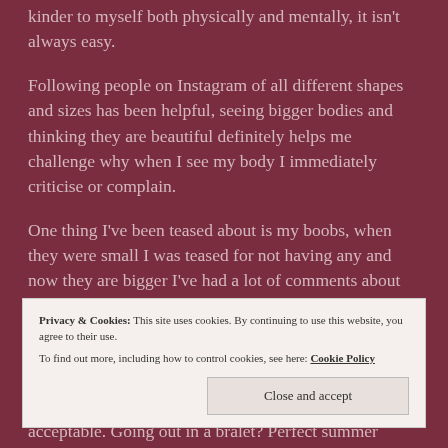kinder to myself both physically and mentally, it isn't always easy.
Following people on Instagram of all different shapes and sizes has been helpful, seeing bigger bodies and thinking they are beautiful definitely helps me challenge why when I see my body I immediately criticise or complain.
One thing I've been teased about is my boobs, when they were small I was teased for not having any and now they are bigger I've had a lot of comments about
Privacy & Cookies: This site uses cookies. By continuing to use this website, you agree to their use. To find out more, including how to control cookies, see here: Cookie Policy
acceptable. Going out in a bralet? Perfect summer